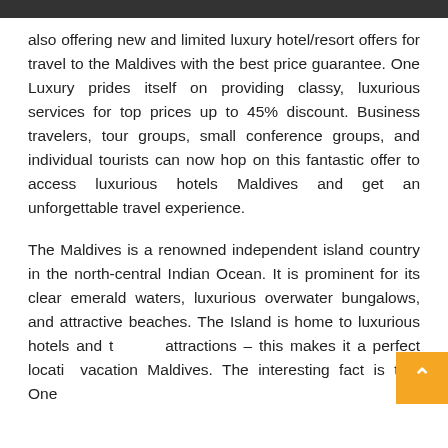also offering new and limited luxury hotel/resort offers for travel to the Maldives with the best price guarantee. One Luxury prides itself on providing classy, luxurious services for top prices up to 45% discount. Business travelers, tour groups, small conference groups, and individual tourists can now hop on this fantastic offer to access luxurious hotels Maldives and get an unforgettable travel experience.
The Maldives is a renowned independent island country in the north-central Indian Ocean. It is prominent for its clear emerald waters, luxurious overwater bungalows, and attractive beaches. The Island is home to luxurious hotels and to attractions – this makes it a perfect locatio vacation Maldives. The interesting fact is that One